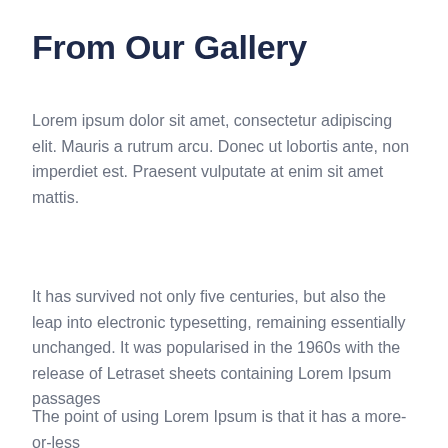From Our Gallery
Lorem ipsum dolor sit amet, consectetur adipiscing elit. Mauris a rutrum arcu. Donec ut lobortis ante, non imperdiet est. Praesent vulputate at enim sit amet mattis.
It has survived not only five centuries, but also the leap into electronic typesetting, remaining essentially unchanged. It was popularised in the 1960s with the release of Letraset sheets containing Lorem Ipsum passages
The point of using Lorem Ipsum is that it has a more-or-less